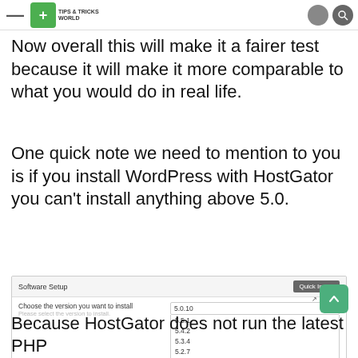Tips & Tricks World
Now overall this will make it a fairer test because it will make it more comparable to what you would do in real life.
One quick note we need to mention to you is if you install WordPress with HostGator you can't install anything above 5.0.
[Figure (screenshot): Software Setup panel showing a version dropdown with WordPress versions listed: 5.5.1, 5.4.2, 5.3.4, 5.2.7, 5.1.6, 5.0.10 (selected/highlighted), 4.9.15. A Quick Install button is visible top right. Fields for 'Choose the version you want to install' and 'Choose Installation URL' are shown. Site Settings label at bottom.]
Because HostGator does not run the latest PHP